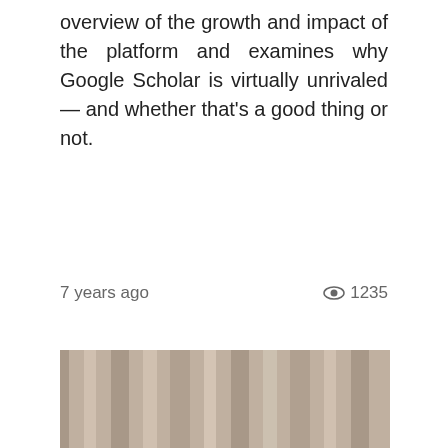overview of the growth and impact of the platform and examines why Google Scholar is virtually unrivaled — and whether that's a good thing or not.
7 years ago   👁 1235
[Figure (photo): Portrait photograph of a middle-aged woman with short blonde-brown hair, wearing a light top with a red scarf, against a curtained background.]